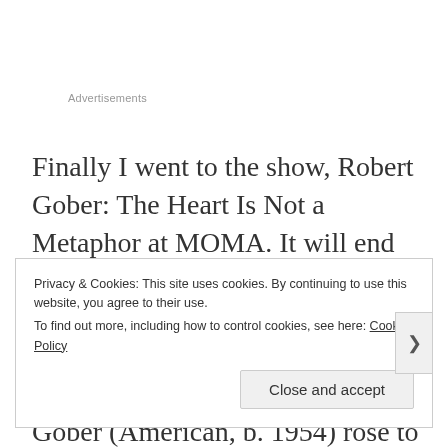Advertisements
Finally I went to the show, Robert Gober: The Heart Is Not a Metaphor at MOMA. It will end tomorrow. The Heart Is Not a Metaphor is the first large-scale survey of Robert Gober's career to take place in the United States. Gober (American, b. 1954) rose to prominence in the mid-1980s and was quickly acknowledged as one of the most significant artists
Privacy & Cookies: This site uses cookies. By continuing to use this website, you agree to their use.
To find out more, including how to control cookies, see here: Cookie Policy
Close and accept